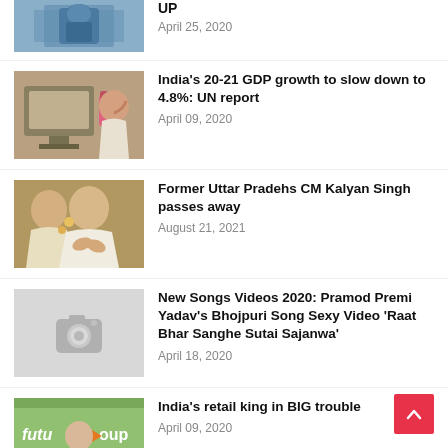[Figure (photo): Partial top of page: medical worker in blue PPE]
UP
April 25, 2020
[Figure (photo): Man holding head at computer desk]
India's 20-21 GDP growth to slow down to 4.8%: UN report
April 09, 2020
[Figure (photo): Kalyan Singh with hands folded in namaste gesture]
Former Uttar Pradehs CM Kalyan Singh passes away
August 21, 2021
[Figure (photo): Placeholder camera icon on grey background]
New Songs Videos 2020: Pramod Premi Yadav's Bhojpuri Song Sexy Video 'Raat Bhar Sanghe Sutai Sajanwa'
April 18, 2020
[Figure (photo): Man in white shirt in front of Future Group signage]
India's retail king in BIG trouble
April 09, 2020